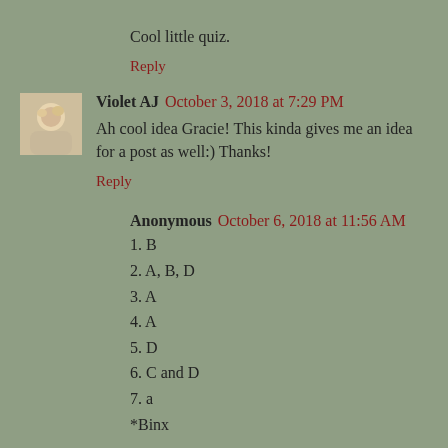Cool little quiz.
Reply
Violet AJ  October 3, 2018 at 7:29 PM
Ah cool idea Gracie! This kinda gives me an idea for a post as well:) Thanks!
Reply
Anonymous  October 6, 2018 at 11:56 AM
1. B
2. A, B, D
3. A
4. A
5. D
6. C and D
7. a
*Binx
Reply